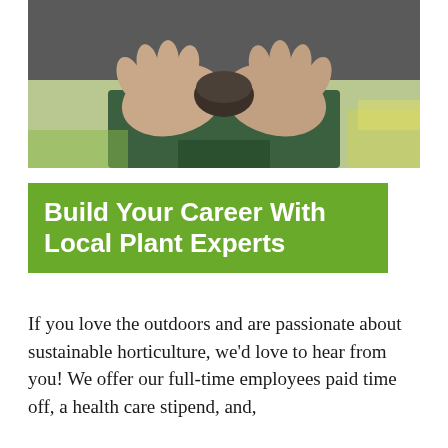[Figure (photo): Close-up photo of a person's hands cupping a small plant seedling or soil, wearing a dark green shirt. Blurred garden background visible.]
Build Your Career With Local Plant Experts
If you love the outdoors and are passionate about sustainable horticulture, we'd love to hear from you! We offer our full-time employees paid time off, a health care stipend, and,